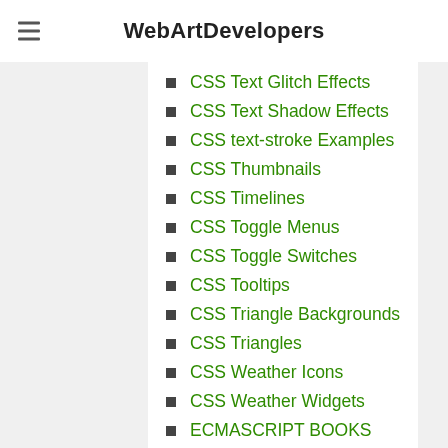WebArtDevelopers
CSS Text Glitch Effects
CSS Text Shadow Effects
CSS text-stroke Examples
CSS Thumbnails
CSS Timelines
CSS Toggle Menus
CSS Toggle Switches
CSS Tooltips
CSS Triangle Backgrounds
CSS Triangles
CSS Weather Icons
CSS Weather Widgets
ECMASCRIPT BOOKS
ECOMMERCE CARDS
Ecommerce Online Shopping